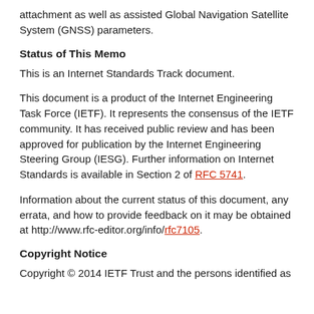attachment as well as assisted Global Navigation Satellite System (GNSS) parameters.
Status of This Memo
This is an Internet Standards Track document.
This document is a product of the Internet Engineering Task Force (IETF). It represents the consensus of the IETF community. It has received public review and has been approved for publication by the Internet Engineering Steering Group (IESG). Further information on Internet Standards is available in Section 2 of RFC 5741.
Information about the current status of this document, any errata, and how to provide feedback on it may be obtained at http://www.rfc-editor.org/info/rfc7105.
Copyright Notice
Copyright © 2014 IETF Trust and the persons identified as